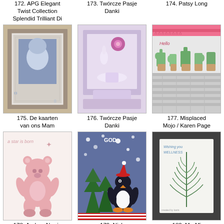172. APG Elegant Twist Collection Splendid Trilliant Di
173. Twórcze Pasje Danki
174. Patsy Long
[Figure (photo): Craft card with winter child photo and decorative die-cut frame]
[Figure (photo): Purple layered card with floral decorations and ribbon]
[Figure (photo): Cactus stamp/sticker on pink striped background]
175. De kaarten van ons Mam
176. Twórcze Pasje Danki
177. Misplaced Mojo / Karen Page
[Figure (photo): Watercolor card with pink teddy bear, text 'a star is born']
[Figure (photo): Penguin in Santa hat with green Christmas trees on grey snow background]
[Figure (photo): Fern watercolor card with blue text]
178. Andrea Norris
179. Nick
180. Ma-Mi
[Figure (photo): Christmas card with mug, candy canes and teddy bear, text 'Christmas']